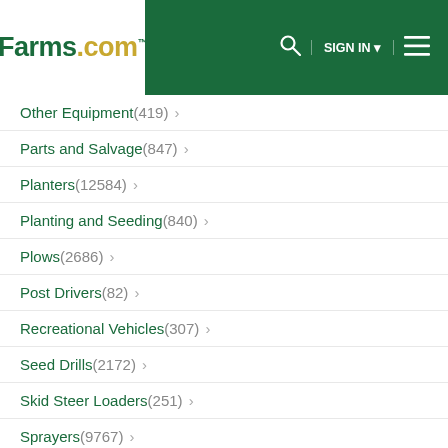Farms.com — SIGN IN
Other Equipment(419) ›
Parts and Salvage(847) ›
Planters(12584) ›
Planting and Seeding(840) ›
Plows(2686) ›
Post Drivers(82) ›
Recreational Vehicles(307) ›
Seed Drills(2172) ›
Skid Steer Loaders(251) ›
Sprayers(9767) ›
Swathers(266) ›
Tillage(1284) ›
Tractors(2859) ›
Trailers(1238) ›
Trucks and Automobiles(273) ›
W...(????) ›